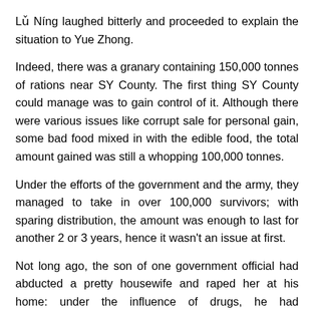Lǔ Níng laughed bitterly and proceeded to explain the situation to Yue Zhong.
Indeed, there was a granary containing 150,000 tonnes of rations near SY County. The first thing SY County could manage was to gain control of it. Although there were various issues like corrupt sale for personal gain, some bad food mixed in with the edible food, the total amount gained was still a whopping 100,000 tonnes.
Under the efforts of the government and the army, they managed to take in over 100,000 survivors; with sparing distribution, the amount was enough to last for another 2 or 3 years, hence it wasn't an issue at first.
Not long ago, the son of one government official had abducted a pretty housewife and raped her at his home: under the influence of drugs, he had accidentally caused her death. In the current world, such deaths were common and the official's son did not give it much thought.